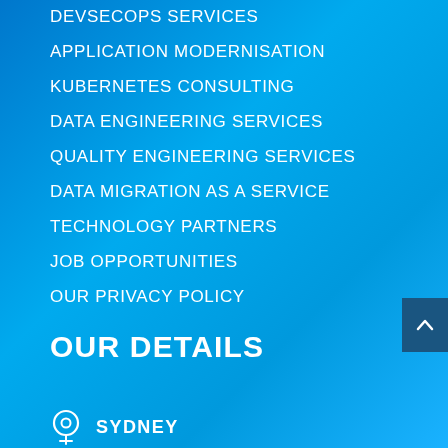DEVSECOPS SERVICES
APPLICATION MODERNISATION
KUBERNETES CONSULTING
DATA ENGINEERING SERVICES
QUALITY ENGINEERING SERVICES
DATA MIGRATION AS A SERVICE
TECHNOLOGY PARTNERS
JOB OPPORTUNITIES
OUR PRIVACY POLICY
OUR DETAILS
SYDNEY